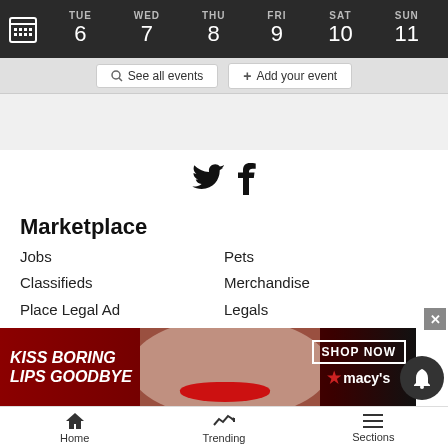[Figure (screenshot): Calendar week header bar showing TUE 6, WED 7, THU 8, FRI 9, SAT 10, SUN 11]
See all events  +  Add your event
[Figure (other): Twitter and Facebook social media icons]
Marketplace
Jobs
Pets
Classifieds
Merchandise
Place Legal Ad
Legals
Search Legal Ads
Farm & Ranch
Autos
Recreation
Real Estate
Announcements
Rentals
Service D...
[Figure (photo): Macy's advertisement banner: KISS BORING LIPS GOODBYE with SHOP NOW button and Macy's star logo, featuring woman with red lips]
Home  Trending  Sections